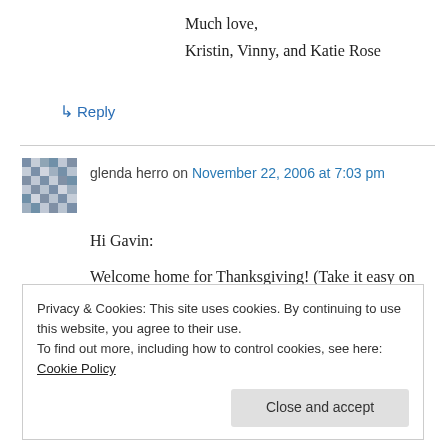Much love,
Kristin, Vinny, and Katie Rose
↳ Reply
glenda herro on November 22, 2006 at 7:03 pm
Hi Gavin:

Welcome home for Thanksgiving! (Take it easy on the turkey.)
Privacy & Cookies: This site uses cookies. By continuing to use this website, you agree to their use.
To find out more, including how to control cookies, see here: Cookie Policy